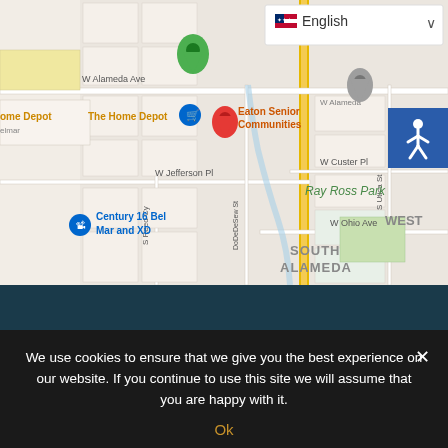[Figure (map): Google Maps screenshot showing the area around Eaton Senior Living Communities in Lakewood/Denver, CO area. Map shows streets including W Alameda Ave, W Jefferson Pl, W Ohio Ave, W Custer Pl, S Reed Ct, S Utica St, and landmarks including The Home Depot, Century 16 Bel Mar and XD, Ray Ross Park, and the South Alameda neighborhood. A red location pin marks Eaton Senior Living Communities. A gold/yellow vertical line runs along what appears to be a major road. A language selector showing 'English' with US flag and dropdown appears in the top right of the map.]
We use cookies to ensure that we give you the best experience on our website. If you continue to use this site we will assume that you are happy with it.
Ok